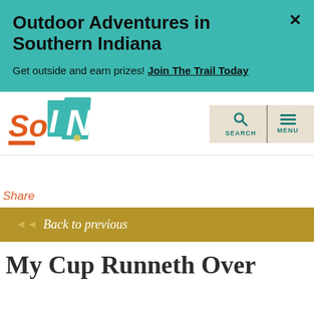Outdoor Adventures in Southern Indiana
Get outside and earn prizes! Join The Trail Today
[Figure (logo): SoIN Southern Indiana tourism logo with colorful block letters]
[Figure (infographic): Search and Menu navigation buttons on beige background]
Share
◄◄ Back to previous
My Cup Runneth Over